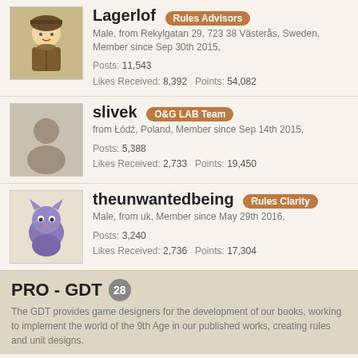[Figure (photo): Avatar of Lagerlof - illustrated character with hat]
Lagerlof [Rules Advisors] Male, from Rekylgatan 29, 723 38 Västerås, Sweden, Member since Sep 30th 2015, Posts: 11,543 Likes Received: 8,392 Points: 54,082
[Figure (photo): Default avatar placeholder silhouette for slivek]
slivek [O&G LAB Team] from Łódź, Poland, Member since Sep 14th 2015, Posts: 5,388 Likes Received: 2,733 Points: 19,450
[Figure (illustration): Avatar of theunwantedbeing - cartoon purple cat]
theunwantedbeing [Rules Clarity] Male, from uk, Member since May 29th 2016, Posts: 3,240 Likes Received: 2,736 Points: 17,304
PRO - GDT 28
The GDT provides game designers for the development of our books, working to implement the world of the 9th Age in our published works, creating rules and unit designs.
[Figure (photo): Photo of Giladis - man outdoors]
Giladis [Advisory Board] Male, 36, from Zagreb, Croatia, Member since Aug 16th 2015, Posts: 33,949 Lexicon Articles: 33 News: 5 Events: 5 Images: 153 Likes Received: 23,389 Points: 157,535
[Figure (photo): Photo of DanT]
DanT [Advisory Board]